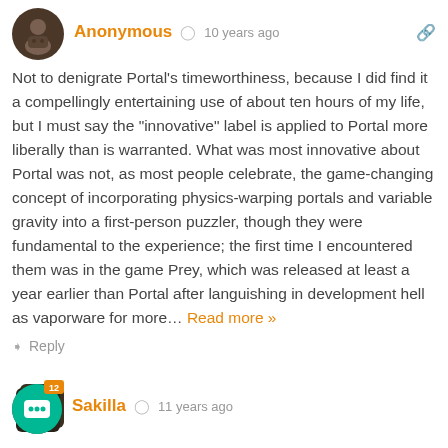[Figure (illustration): User avatar icon - circular brown avatar with person/gamer icon]
Anonymous  10 years ago
Not to denigrate Portal's timeworthiness, because I did find it a compellingly entertaining use of about ten hours of my life, but I must say the "innovative" label is applied to Portal more liberally than is warranted. What was most innovative about Portal was not, as most people celebrate, the game-changing concept of incorporating physics-warping portals and variable gravity into a first-person puzzler, though they were fundamental to the experience; the first time I encountered them was in the game Prey, which was released at least a year earlier than Portal after languishing in development hell as vaporware for more… Read more »
Reply
[Figure (illustration): User avatar with badge showing 12, green chat bubble style avatar for Sakilla]
Sakilla  11 years ago